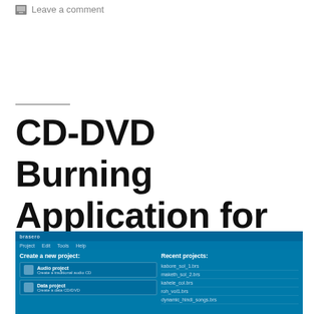Leave a comment
CD-DVD Burning Application for Ubuntu 10.04
[Figure (screenshot): Screenshot of a CD/DVD burning application (Brasero or similar) on Ubuntu 10.04, showing 'Create a new project' panel with Audio project and Data project options, and 'Recent projects' panel listing various .brs files including kabore_sol_1.brs, maketh_sol_2.brs, kahele_col.brs, roh_vol1.brs, dynamic_hindi_songs.brs]